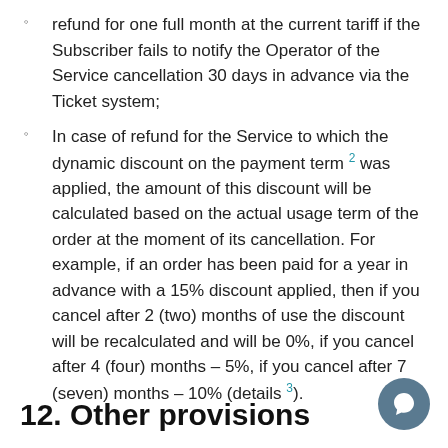refund for one full month at the current tariff if the Subscriber fails to notify the Operator of the Service cancellation 30 days in advance via the Ticket system;
In case of refund for the Service to which the dynamic discount on the payment term 2 was applied, the amount of this discount will be calculated based on the actual usage term of the order at the moment of its cancellation. For example, if an order has been paid for a year in advance with a 15% discount applied, then if you cancel after 2 (two) months of use the discount will be recalculated and will be 0%, if you cancel after 4 (four) months – 5%, if you cancel after 7 (seven) months – 10% (details 3).
12. Other provisions